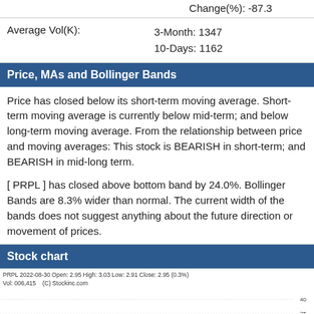Change(%): -87.3
Average Vol(K):  3-Month: 1347  10-Days: 1162
Price, MAs and Bollinger Bands
Price has closed below its short-term moving average. Short-term moving average is currently below mid-term; and below long-term moving average. From the relationship between price and moving averages: This stock is BEARISH in short-term; and BEARISH in mid-long term.
[ PRPL ] has closed above bottom band by 24.0%. Bollinger Bands are 8.3% wider than normal. The current width of the bands does not suggest anything about the future direction or movement of prices.
Stock chart
[Figure (continuous-plot): Stock price chart for PRPL, 2022-08-30, Open: 2.95, High: 3.03, Low: 2.91, Close: 2.95 (0.3%), Vol: 006,415. Source: (C) Stockinc.com. Y-axis shows price levels around 35-40.]